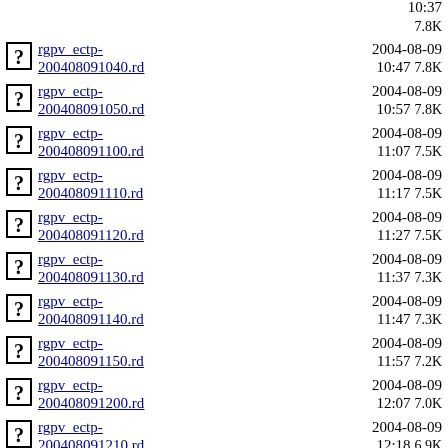rgpv_ectp-200408091030.rd  2004-08-09 10:37  7.8K
rgpv_ectp-200408091040.rd  2004-08-09 10:47  7.8K
rgpv_ectp-200408091050.rd  2004-08-09 10:57  7.8K
rgpv_ectp-200408091100.rd  2004-08-09 11:07  7.5K
rgpv_ectp-200408091110.rd  2004-08-09 11:17  7.5K
rgpv_ectp-200408091120.rd  2004-08-09 11:27  7.5K
rgpv_ectp-200408091130.rd  2004-08-09 11:37  7.3K
rgpv_ectp-200408091140.rd  2004-08-09 11:47  7.3K
rgpv_ectp-200408091150.rd  2004-08-09 11:57  7.2K
rgpv_ectp-200408091200.rd  2004-08-09 12:07  7.0K
rgpv_ectp-200408091210.rd  2004-08-09 12:18  6.9K
rgpv_ectp-200408091220.rd  2004-08-09 12:27  6.8K